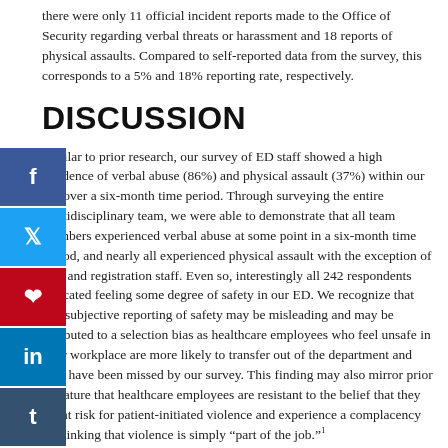there were only 11 official incident reports made to the Office of Security regarding verbal threats or harassment and 18 reports of physical assaults. Compared to self-reported data from the survey, this corresponds to a 5% and 18% reporting rate, respectively.
DISCUSSION
Similar to prior research, our survey of ED staff showed a high incidence of verbal abuse (86%) and physical assault (37%) within our ED over a six-month time period. Through surveying the entire multidisciplinary team, we were able to demonstrate that all team members experienced verbal abuse at some point in a six-month time period, and nearly all experienced physical assault with the exception of TAs and registration staff. Even so, interestingly all 242 respondents indicated feeling some degree of safety in our ED. We recognize that this subjective reporting of safety may be misleading and may be attributed to a selection bias as healthcare employees who feel unsafe in their workplace are more likely to transfer out of the department and may have been missed by our survey. This finding may also mirror prior literature that healthcare employees are resistant to the belief that they are at risk for patient-initiated violence and experience a complacency in thinking that violence is simply "part of the job."1